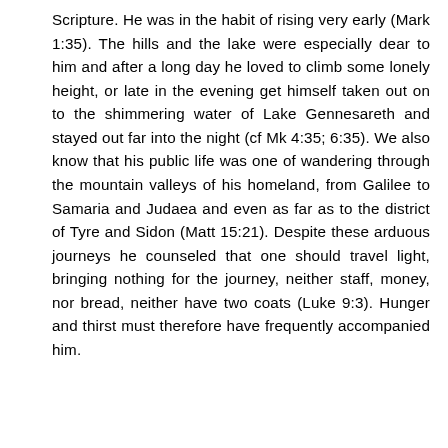Scripture. He was in the habit of rising very early (Mark 1:35). The hills and the lake were especially dear to him and after a long day he loved to climb some lonely height, or late in the evening get himself taken out on to the shimmering water of Lake Gennesareth and stayed out far into the night (cf Mk 4:35; 6:35). We also know that his public life was one of wandering through the mountain valleys of his homeland, from Galilee to Samaria and Judaea and even as far as to the district of Tyre and Sidon (Matt 15:21). Despite these arduous journeys he counseled that one should travel light, bringing nothing for the journey, neither staff, money, nor bread, neither have two coats (Luke 9:3). Hunger and thirst must therefore have frequently accompanied him.